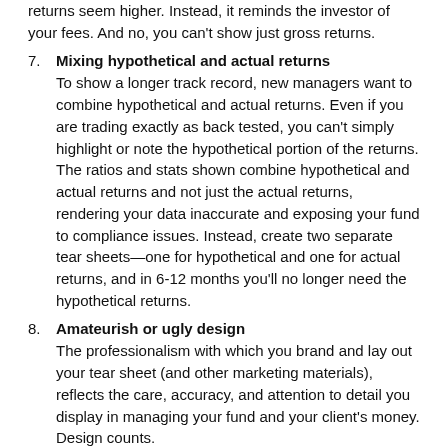7. Mixing hypothetical and actual returns
To show a longer track record, new managers want to combine hypothetical and actual returns. Even if you are trading exactly as back tested, you can't simply highlight or note the hypothetical portion of the returns. The ratios and stats shown combine hypothetical and actual returns and not just the actual returns, rendering your data inaccurate and exposing your fund to compliance issues. Instead, create two separate tear sheets—one for hypothetical and one for actual returns, and in 6-12 months you'll no longer need the hypothetical returns.
8. Amateurish or ugly design
The professionalism with which you brand and lay out your tear sheet (and other marketing materials), reflects the care, accuracy, and attention to detail you display in managing your fund and your client's money. Design counts.
The professionalism you put into your fund presentation is a reflection of how you manage your business and investor money. Your fund's tear sheet is a core tool in any fund